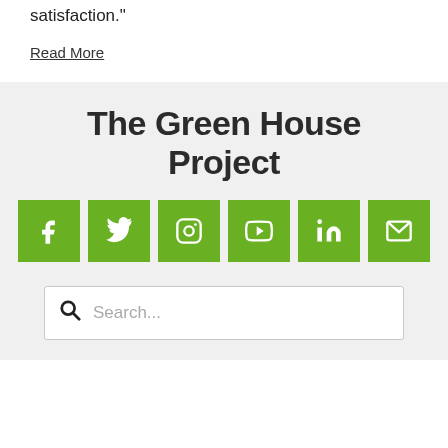satisfaction."
Read More
The Green House Project
[Figure (infographic): Six green square social media icons: Facebook, Twitter, Instagram, YouTube, LinkedIn, Email/envelope]
[Figure (other): Search bar with magnifying glass icon and placeholder text 'Search...']